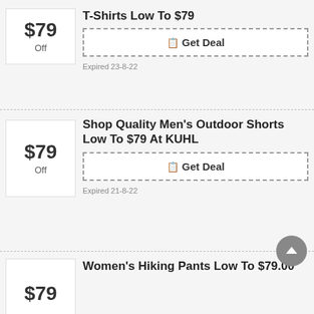$79 Off — T-Shirts Low To $79 — Get Deal — Expired 23-8-22
$79 Off — Shop Quality Men's Outdoor Shorts Low To $79 At KUHL — Get Deal — Expired 21-8-22
$79 Off — Women's Hiking Pants Low To $79.00